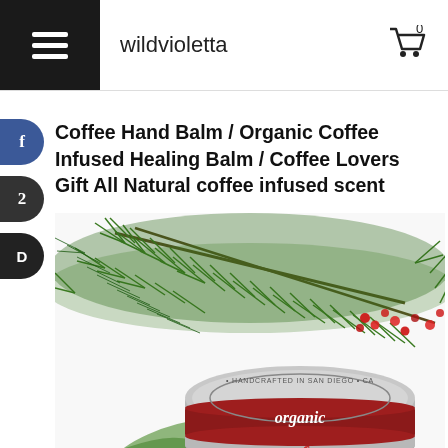wildvioletta
Coffee Hand Balm / Organic Coffee Infused Healing Balm / Coffee Lovers Gift All Natural coffee infused scent
[Figure (photo): Product photo showing a round metal tin of organic coffee hand balm with a red label reading 'organic' and 'Handcrafted in San Diego CA', surrounded by green pine/fir branches and red berries on a white background.]